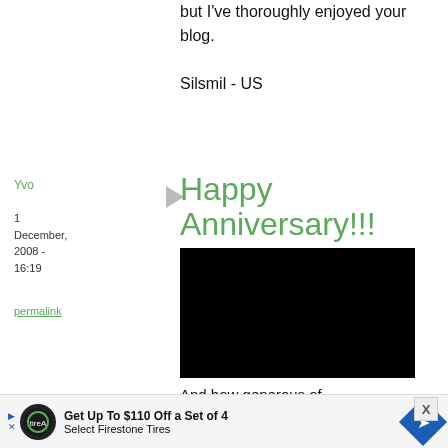but I've thoroughly enjoyed your blog. Silsmil - US
Yvo
1 December, 2008 - 16:19
permalink
Happy Anniversary!!!
[Figure (other): Black rectangle — embedded video player (no content visible)]
And how generous of
Get Up To $110 Off a Set of 4 Select Firestone Tires